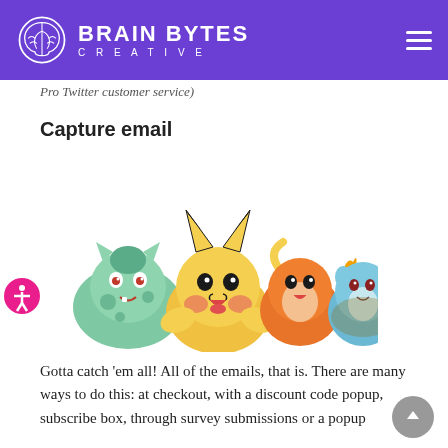BRAIN BYTES CREATIVE
Pro Twitter customer service)
Capture email
[Figure (illustration): Cartoon illustration of three Pokémon characters: Bulbasaur (green), Pikachu (yellow), Charmander (orange), and Squirtle (blue) grouped together.]
Gotta catch 'em all! All of the emails, that is. There are many ways to do this: at checkout, with a discount code popup, subscribe box, through survey submissions or a popup